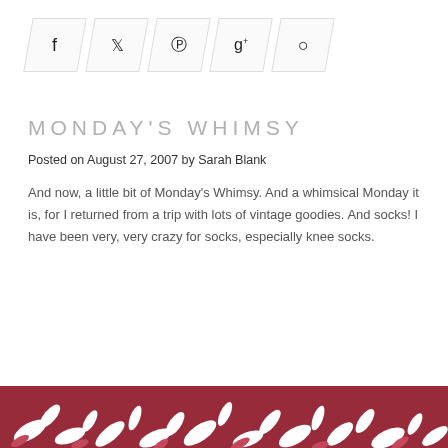[Figure (other): Social sharing icon bar with 5 parallelogram-shaped buttons containing icons for Facebook, Twitter, Pinterest, Google+, and comment/speech bubble]
MONDAY'S WHIMSY
Posted on August 27, 2007 by Sarah Blank
And now, a little bit of Monday's Whimsy. And a whimsical Monday it is, for I returned from a trip with lots of vintage goodies. And socks! I have been very, very crazy for socks, especially knee socks.
[Figure (photo): Partial view of a red/maroon floral fabric with white leaf/flower pattern, visible at the bottom edge of the page]